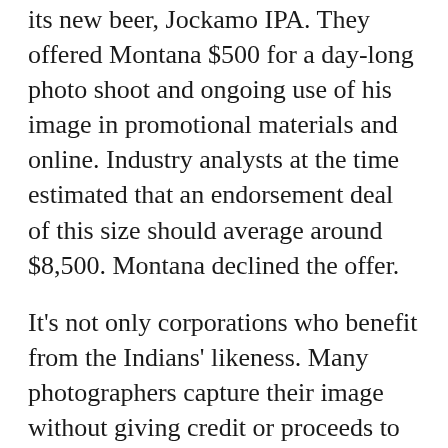its new beer, Jockamo IPA. They offered Montana $500 for a day-long photo shoot and ongoing use of his image in promotional materials and online. Industry analysts at the time estimated that an endorsement deal of this size should average around $8,500. Montana declined the offer.
It's not only corporations who benefit from the Indians' likeness. Many photographers capture their image without giving credit or proceeds to the artists who create the intricately hand-sewn suits.
[Figure (photo): Photo of a Mardi Gras Indian in a large black feathered headdress and suit, with red accents visible, outdoors with trees and a house in the background. An advertisement banner overlay at the bottom reads: 'Get our stories delivered directly to your phone with the NEW Next City app!' with a phone graphic, on a purple background.]